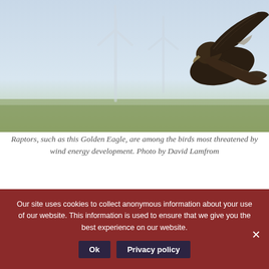[Figure (photo): A Golden Eagle with wings spread in flight, with wind turbines visible in the blurred background against a pale blue sky.]
Raptors, such as this Golden Eagle, are among the birds most threatened by wind energy development. Photo by David Lamfrom
We estimate that hundreds of thousands of birds and bats die every year when they accidentally collide with turbine blades9, 17, 25, 26. Fragile-bodied bats
Our site uses cookies to collect anonymous information about your use of our website. This information is used to ensure that we give you the best experience on our website.